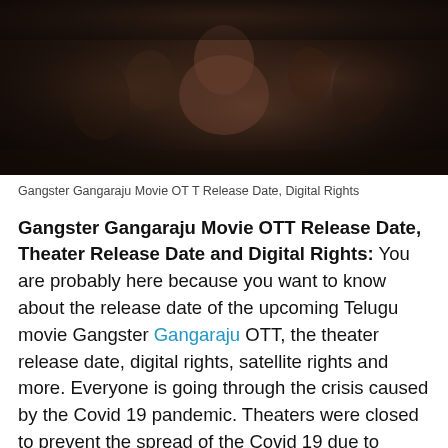[Figure (photo): Dark, dramatic movie still showing muscular men in an intense scene, with sepia/dark tones, from the Telugu movie Gangster Gangaraju]
Gangster Gangaraju Movie OT T Release Date, Digital Rights
Gangster Gangaraju Movie OTT Release Date, Theater Release Date and Digital Rights: You are probably here because you want to know about the release date of the upcoming Telugu movie Gangster Gangaraju OTT, the theater release date, digital rights, satellite rights and more. Everyone is going through the crisis caused by the Covid 19 pandemic. Theaters were closed to prevent the spread of the Covid 19 due to crowds.